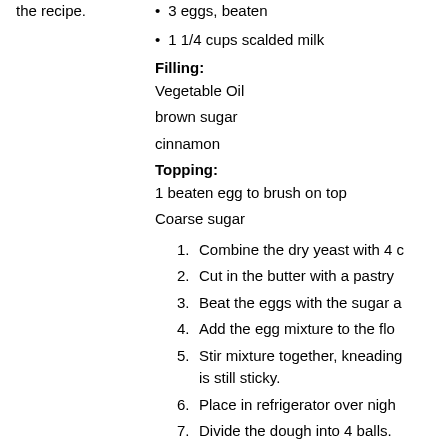the recipe.
3 eggs, beaten
1 1/4 cups scalded milk
Filling:
Vegetable Oil
brown sugar
cinnamon
Topping:
1 beaten egg to brush on top
Coarse sugar
1. Combine the dry yeast with 4 c
2. Cut in the butter with a pastry
3. Beat the eggs with the sugar a
4. Add the egg mixture to the flo
5. Stir mixture together, kneading is still sticky.
6. Place in refrigerator over nigh
7. Divide the dough into 4 balls.
8. Roll each ball into a circle abo
9. Lightly brush the dough with v